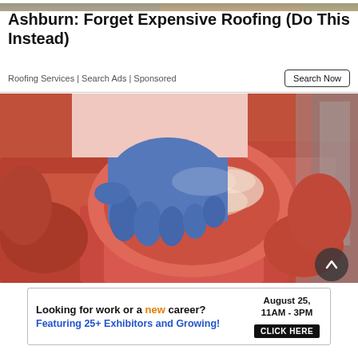[Figure (photo): Top strip image — partial view of a roofing or outdoor scene, cropped strip at top of page]
Ashburn: Forget Expensive Roofing (Do This Instead)
Roofing Services | Search Ads | Sponsored
[Figure (photo): A butcher with blue gloves holding a large cut of raw red meat over a display case filled with various cuts of raw meat]
[Figure (infographic): Advertisement banner: 'Looking for work or a new career? August 25, 11AM - 3PM. Featuring 25+ Exhibitors and Growing! CLICK HERE']